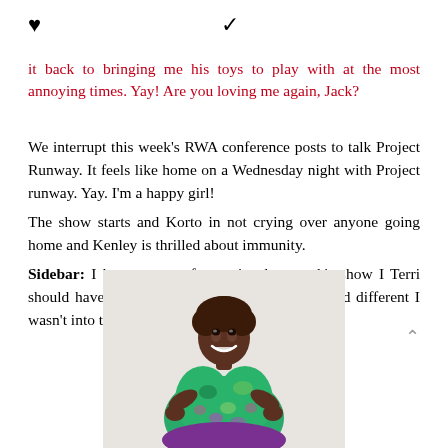♥  ✓
it back to bringing me his toys to play with at the most annoying times. Yay! Are you loving me again, Jack?
We interrupt this week's RWA conference posts to talk Project Runway. It feels like home on a Wednesday night with Project runway. Yay. I'm a happy girl!
The show starts and Korto in not crying over anyone going home and Kenley is thrilled about immunity.
Sidebar: I have to say after seeing last week's show I Terri should have won. Kenly's dress was out there and different I wasn't into the asymmetry of it.
[Figure (photo): A smiling woman with short natural hair wearing a colorful green floral/tropical print dress, standing with hands on hips against a light background.]